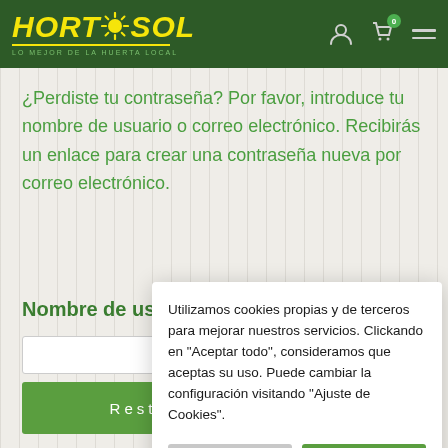HORTÁSOL — LO MEJOR DE LA HUERTA LOCAL
¿Perdiste tu contraseña? Por favor, introduce tu nombre de usuario o correo electrónico. Recibirás un enlace para crear una contraseña nueva por correo electrónico.
Nombre de usuario o correo electrónico
Utilizamos cookies propias y de terceros para mejorar nuestros servicios. Clickando en "Aceptar todo", consideramos que aceptas su uso. Puede cambiar la configuración visitando "Ajuste de Cookies".
Ajuste de Cookies | Aceptar todo